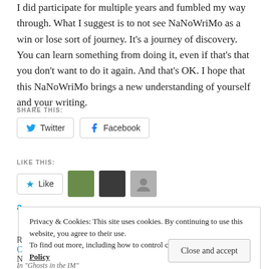I did participate for multiple years and fumbled my way through. What I suggest is to not see NaNoWriMo as a win or lose sort of journey. It's a journey of discovery. You can learn something from doing it, even if that's that you don't want to do it again. And that's OK. I hope that this NaNoWriMo brings a new understanding of yourself and your writing.
SHARE THIS:
Twitter  Facebook
LIKE THIS:
Like
Privacy & Cookies: This site uses cookies. By continuing to use this website, you agree to their use. To find out more, including how to control cookies, see here: Cookie Policy
Close and accept
In "Ghosts in the IM"